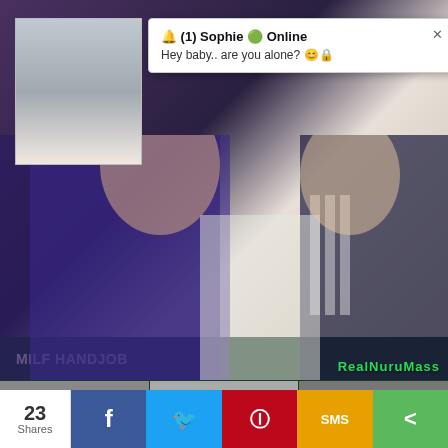[Figure (screenshot): Video thumbnail showing two blonde women, one in a blue satin robe, sitting on a white couch. A notification popup overlay is visible in the top-right showing a profile photo and message. Watermark 'RealNuruMass' in green text on the video.]
🔔 (1) Sophie 🟢 Online
Hey baby.. are you alone? 😊🔒
MILF HANDJOB
23
Shares